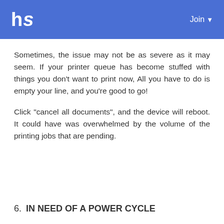hs   Join
Sometimes, the issue may not be as severe as it may seem. If your printer queue has become stuffed with things you don't want to print now, All you have to do is empty your line, and you're good to go!
Click "cancel all documents", and the device will reboot. It could have was overwhelmed by the volume of the printing jobs that are pending.
6. IN NEED OF A POWER CYCLE